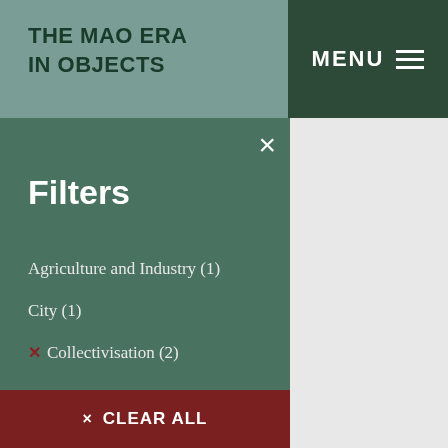THE MAO ERA IN OBJECTS
MENU
Filters
Agriculture and Industry (1)
City (1)
× Collectivisation (2)
× Countryside (2)
Cultural Work (1)
Economic Development (1)
Five-year Plan (1)
Great Leap Forward (2)
Mass Campaigns (2)
users
ords
ountryside (2)
× CLEAR ALL